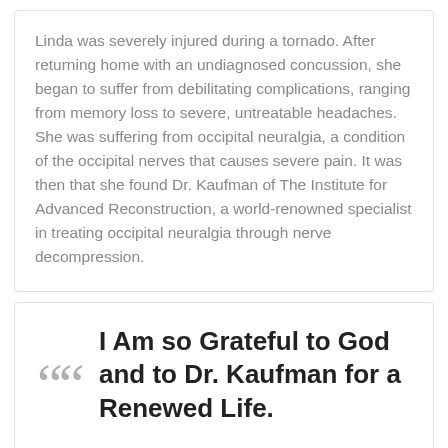Linda was severely injured during a tornado. After returning home with an undiagnosed concussion, she began to suffer from debilitating complications, ranging from memory loss to severe, untreatable headaches. She was suffering from occipital neuralgia, a condition of the occipital nerves that causes severe pain. It was then that she found Dr. Kaufman of The Institute for Advanced Reconstruction, a world-renowned specialist in treating occipital neuralgia through nerve decompression.
I Am so Grateful to God and to Dr. Kaufman for a Renewed Life.